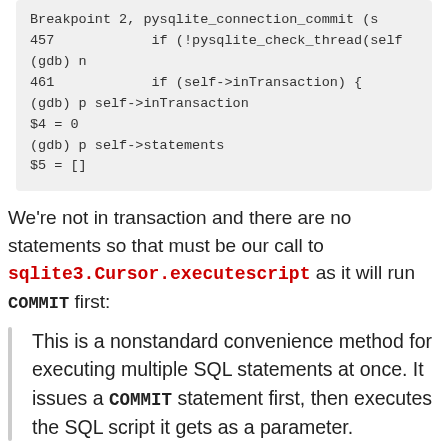[Figure (screenshot): Code block showing GDB debugger session output with breakpoint, pysqlite_connection_commit, thread check, inTransaction check, and statements listing]
We're not in transaction and there are no statements so that must be our call to sqlite3.Cursor.executescript as it will run COMMIT first:
This is a nonstandard convenience method for executing multiple SQL statements at once. It issues a COMMIT statement first, then executes the SQL script it gets as a parameter.